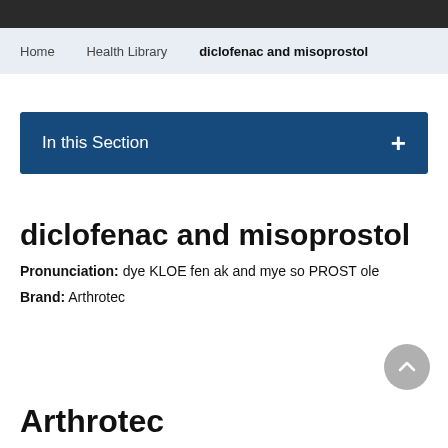Home   Health Library   diclofenac and misoprostol
In this Section
diclofenac and misoprostol
Pronunciation: dye KLOE fen ak and mye so PROST ole
Brand: Arthrotec
Arthrotec